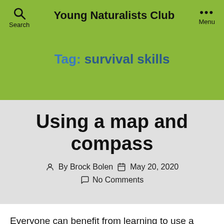Young Naturalists Club
Tag: survival skills
Using a map and compass
By Brock Bolen   May 20, 2020   No Comments
Everyone can benefit from learning to use a map and compass. Most people nowadays are used to using